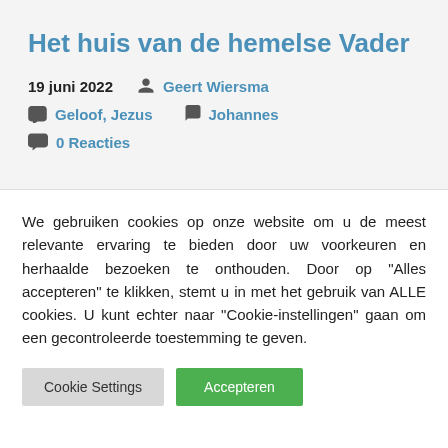Het huis van de hemelse Vader
19 juni 2022   Geert Wiersma
Geloof, Jezus   Johannes
0 Reacties
We gebruiken cookies op onze website om u de meest relevante ervaring te bieden door uw voorkeuren en herhaalde bezoeken te onthouden. Door op "Alles accepteren" te klikken, stemt u in met het gebruik van ALLE cookies. U kunt echter naar "Cookie-instellingen" gaan om een gecontroleerde toestemming te geven.
Cookie Settings   Accepteren